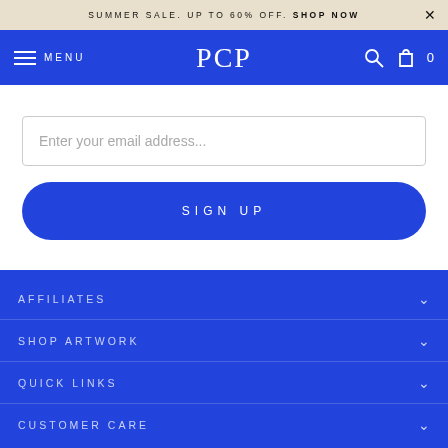SUMMER SALE. UP TO 60% OFF. SHOP NOW
[Figure (screenshot): Website navigation bar with PCP logo, hamburger menu, search icon and cart icon on blue background]
Enter your email address...
SIGN UP
AFFILIATES
SHOP ARTWORK
QUICK LINKS
CUSTOMER CARE